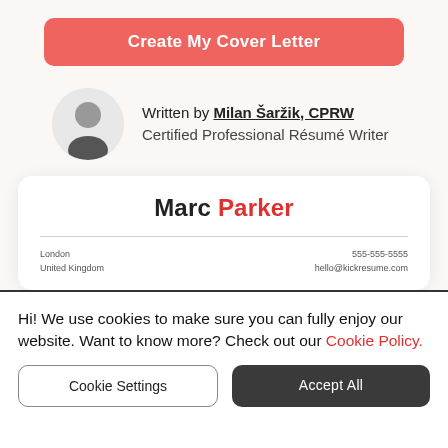[Figure (other): Red/coral rounded rectangle button labeled 'Create My Cover Letter']
Written by Milan Šaržik, CPRW
Certified Professional Résumé Writer
[Figure (other): A preview of a resume card for Marc Parker with London, United Kingdom and contact info]
Hi! We use cookies to make sure you can fully enjoy our website. Want to know more? Check out our Cookie Policy.
Cookie Settings
Accept All